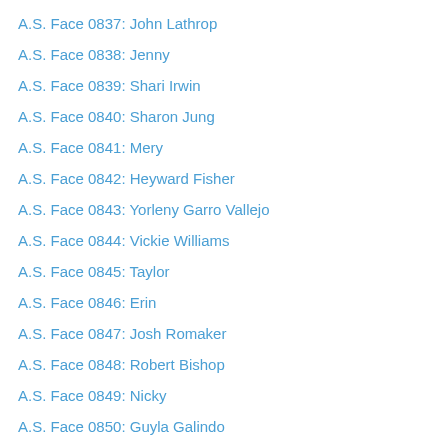A.S. Face 0837: John Lathrop
A.S. Face 0838: Jenny
A.S. Face 0839: Shari Irwin
A.S. Face 0840: Sharon Jung
A.S. Face 0841: Mery
A.S. Face 0842: Heyward Fisher
A.S. Face 0843: Yorleny Garro Vallejo
A.S. Face 0844: Vickie Williams
A.S. Face 0845: Taylor
A.S. Face 0846: Erin
A.S. Face 0847: Josh Romaker
A.S. Face 0848: Robert Bishop
A.S. Face 0849: Nicky
A.S. Face 0850: Guyla Galindo
A.S. Face 0851: Peter Lonsdale
A.S. Face 0852: Chris Kelly
A.S. Face 0853: Patty Rodgers
A.S. Face 0854: Letisha
A.S. Face 0855: Jacob Kuhn
A.S. Face 0856: Ashley Weeks Hasting